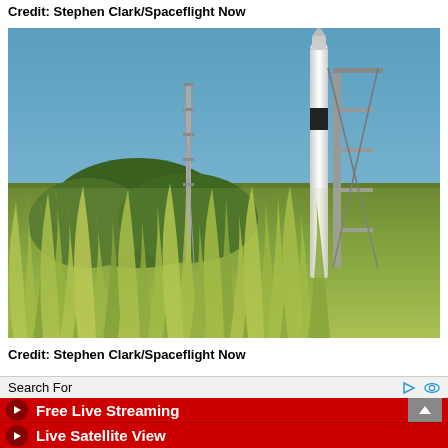Credit: Stephen Clark/Spaceflight Now
[Figure (photo): A SpaceX Falcon 9 rocket on the launch pad at Cape Canaveral, photographed through tall grass blowing in the wind, with a blue sky background and launch tower visible.]
Credit: Stephen Clark/Spaceflight Now
[Figure (photo): Partially visible next photo strip at bottom of page.]
Search For
Free Live Streaming
Live Satellite View